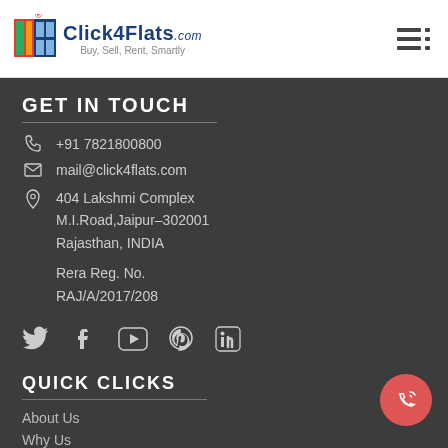[Figure (logo): Click4Flats.com logo with colored window icon and tagline 'Buy, Sell, Rent, Smartly']
GET IN TOUCH
+91 7821800800
mail@click4flats.com
404 Lakshmi Complex M.I.Road,Jaipur–302001 Rajasthan, INDIA
Rera Reg. No. RAJ/A/2017/208
[Figure (illustration): Social media icons: Twitter, Facebook, YouTube, Pinterest, LinkedIn]
QUICK CLICKS
About Us
Why Us